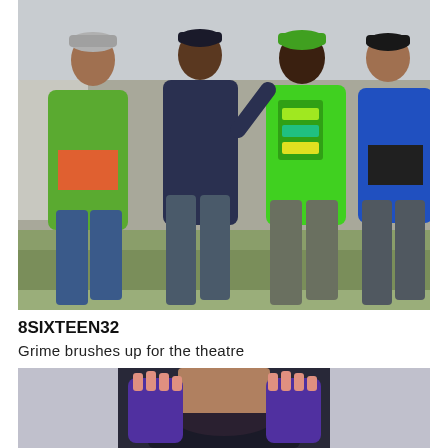[Figure (photo): Four young men standing outdoors on a grassy area with an urban background. They wear colorful streetwear: green puffer jacket with Mickey Mouse print, dark navy hoodie, bright green hoodie with graphic text, and a blue jacket. They appear to be talking and gesturing.]
8SIXTEEN32
Grime brushes up for the theatre
[Figure (photo): A young woman wearing fingerless purple gloves, a dark jacket, and a fur-trimmed scarf, gesturing with both hands toward the camera.]